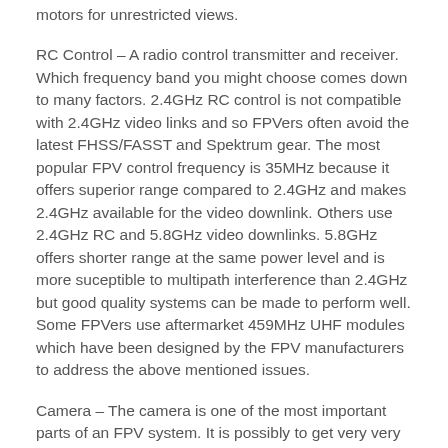motors for unrestricted views.
RC Control – A radio control transmitter and receiver. Which frequency band you might choose comes down to many factors. 2.4GHz RC control is not compatible with 2.4GHz video links and so FPVers often avoid the latest FHSS/FASST and Spektrum gear. The most popular FPV control frequency is 35MHz because it offers superior range compared to 2.4GHz and makes 2.4GHz available for the video downlink. Others use 2.4GHz RC and 5.8GHz video downlinks. 5.8GHz offers shorter range at the same power level and is more suceptible to multipath interference than 2.4GHz but good quality systems can be made to perform well. Some FPVers use aftermarket 459MHz UHF modules which have been designed by the FPV manufacturers to address the above mentioned issues.
Camera – The camera is one of the most important parts of an FPV system. It is possibly to get very very cheap cameras but beware the picture quality can be very poor and spoil the experience. There are several tried and tested FPV cameras, most often with names beginning with KX, which FPVers around the world agree are the best available. A KX131 is a good budget/beginner choice.